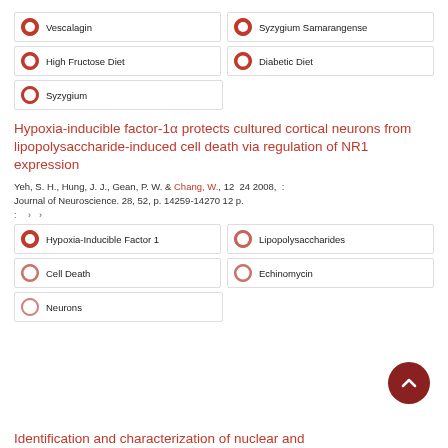100% Vescalagin
100% Syzygium Samarangense
90% High Fructose Diet
90% Diabetic Diet
80% Syzygium
Hypoxia-inducible factor-1α protects cultured cortical neurons from lipopolysaccharide-induced cell death via regulation of NR1 expression
Yeh, S. H., Hung, J. J., Gean, P. W. & Chang, W., 12 24 2008, : Journal of Neuroscience. 28, 52, p. 14259-14270 12 p.
100% Hypoxia-Inducible Factor 1
70% Lipopolysaccharides
60% Cell Death
60% Echinomycin
50% Neurons
Identification and characterization of nuclear and